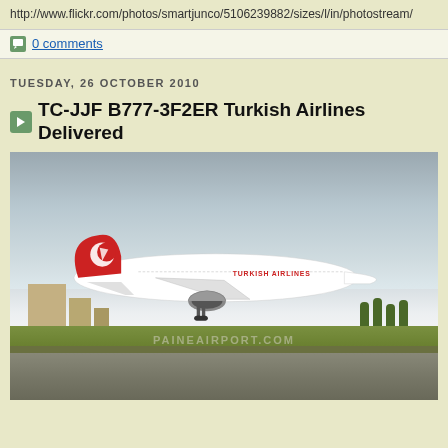http://www.flickr.com/photos/smartjunco/5106239882/sizes/l/in/photostream/
0 comments
TUESDAY, 26 OCTOBER 2010
TC-JJF B777-3F2ER Turkish Airlines Delivered
[Figure (photo): Turkish Airlines Boeing 777-3F2ER aircraft (TC-JJF) taking off or landing at Paine Airport. The white aircraft with red tail fin bearing the Turkish Airlines crescent and star logo. Text 'TURKISH AIRLINES' visible on fuselage. Watermark reads PAINEAIRPORT.COM. Background shows airport buildings, trees, and runway.]